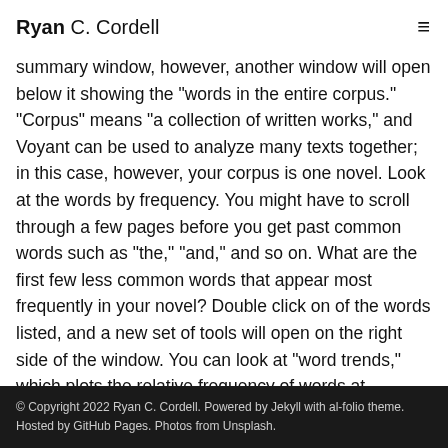Ryan C. Cordell
summary of results below, and the text of your... summary window, however, another window will open below it showing the "words in the entire corpus." "Corpus" means "a collection of written works," and Voyant can be used to analyze many texts together; in this case, however, your corpus is one novel. Look at the words by frequency. You might have to scroll through a few pages before you get past common words such as "the," "and," and so on. What are the first few less common words that appear most frequently in your novel? Double click on of the words listed, and a new set of tools will open on the right side of the window. You can look at "word trends," which plots the relative frequency of words at different points in your novel. Below this you can click to open "Keywords in context," which shows the
© Copyright 2022 Ryan C. Cordell. Powered by Jekyll with al-folio theme. Hosted by GitHub Pages. Photos from Unsplash.